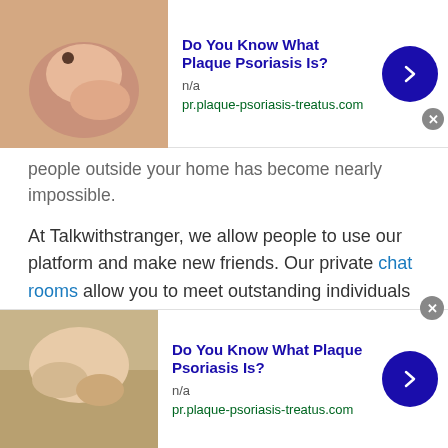[Figure (screenshot): Top advertisement banner: image of skin with mole, title 'Do You Know What Plaque Psoriasis Is?', n/a, pr.plaque-psoriasis-treatus.com, blue arrow button, close X button]
people outside your home has become nearly impossible.
At Talkwithstranger, we allow people to use our platform and make new friends. Our private chat rooms allow you to meet outstanding individuals from all parts of the world which Gibraltar Desi Chat much easier.
Share Knowledge
Since you meet new people from any random part of the world, it gives you a chance to expand your horizons and get to learn more about other cultures, other regions, and
[Figure (screenshot): Bottom advertisement banner: image of hands/skin, title 'Do You Know What Plaque Psoriasis Is?', n/a, pr.plaque-psoriasis-treatus.com, blue arrow button, close X button]